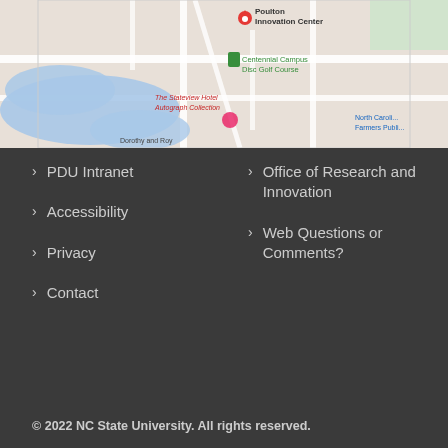[Figure (map): Google Maps screenshot showing Poulton Innovation Center, Centennial Campus Disc Golf Course, The Stateview Hotel Autograph Collection, North Carolina Farmers Public market, and Dorothy and Roy locations near NC State University campus with blue water body and road network.]
PDU Intranet
Office of Research and Innovation
Accessibility
Web Questions or Comments?
Privacy
Contact
© 2022 NC State University. All rights reserved.